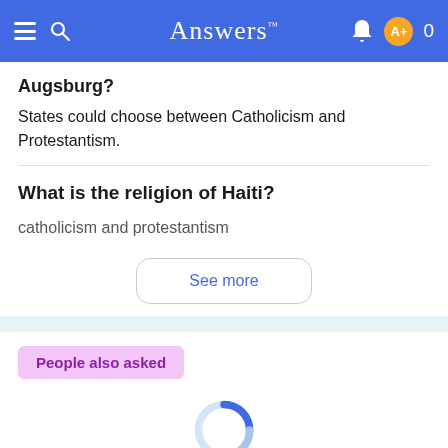Answers
Augsburg?
States could choose between Catholicism and Protestantism.
What is the religion of Haiti?
catholicism and protestantism
See more
People also asked
[Figure (other): Loading spinner (donut/ring shape) partially colored in blue and light blue, indicating content is loading]